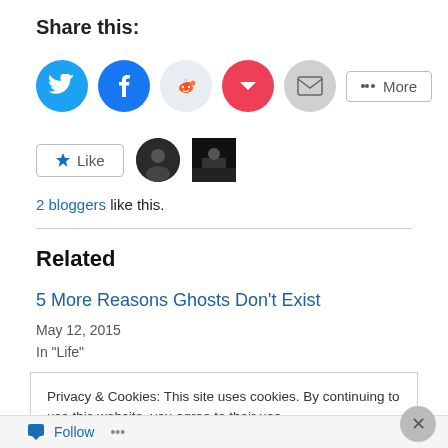Share this:
[Figure (infographic): Social share buttons: Twitter (blue circle), Facebook (blue circle), Reddit (light blue/grey circle), Pocket (red circle), Email (grey circle), and a More button]
[Figure (infographic): Like button with star icon, and two blogger avatar thumbnails (circle and square)]
2 bloggers like this.
Related
5 More Reasons Ghosts Don't Exist
May 12, 2015
In "Life"
Privacy & Cookies: This site uses cookies. By continuing to use this website, you agree to their use. To find out more, including how to control cookies, see here: Cookie Policy